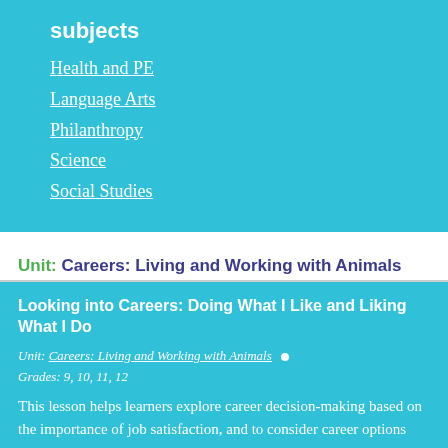subjects
Health and PE
Language Arts
Philanthropy
Science
Social Studies
Unit: Careers: Living and Working with Animals
Looking into Careers: Doing What I Like and Liking What I Do
Unit: Careers: Living and Working with Animals • Grades: 9, 10, 11, 12
This lesson helps learners explore career decision-making based on the importance of job satisfaction, and to consider career options that help them make